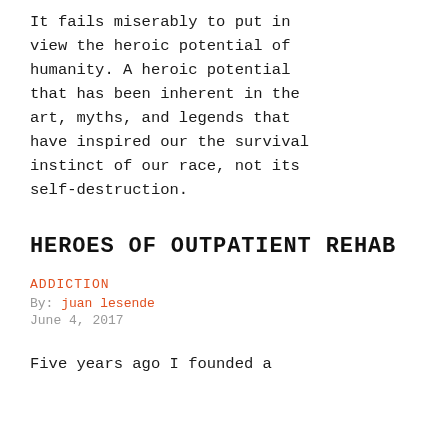It fails miserably to put in view the heroic potential of humanity. A heroic potential that has been inherent in the art, myths, and legends that have inspired our the survival instinct of our race, not its self-destruction.
HEROES OF OUTPATIENT REHAB
ADDICTION
By: juan lesende
June 4, 2017
Five years ago I founded a